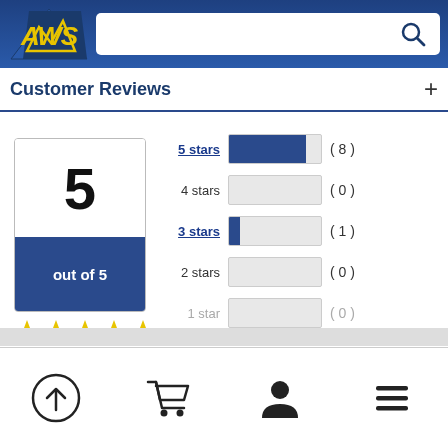[Figure (logo): AWS logo with yellow/blue design]
Customer Reviews
[Figure (bar-chart): Customer Reviews Rating Distribution]
5 out of 5
[Figure (illustration): 5 gold stars rating]